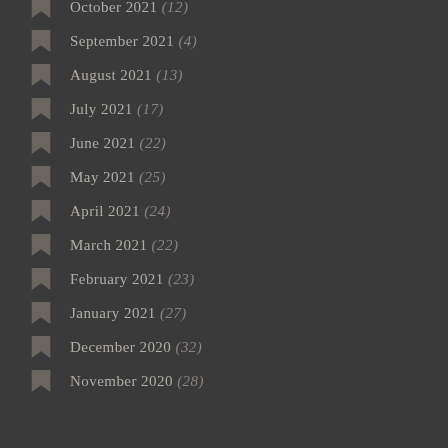October 2021 (12)
September 2021 (4)
August 2021 (13)
July 2021 (17)
June 2021 (22)
May 2021 (25)
April 2021 (24)
March 2021 (22)
February 2021 (23)
January 2021 (27)
December 2020 (32)
November 2020 (28)